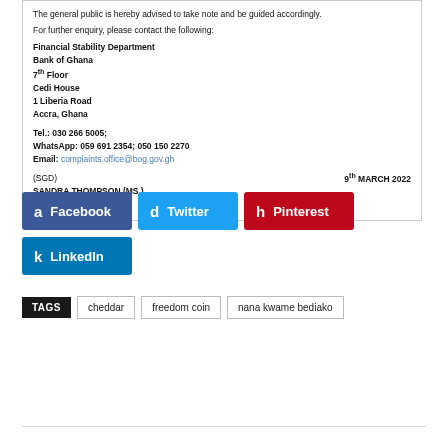The general public is hereby advised to take note and be guided accordingly.
For further enquiry, please contact the following:
Financial Stability Department
Bank of Ghana
7th Floor
Cedi House
1 Liberia Road
Accra, Ghana

Tel.: 030 266 5005;
WhatsApp: 059 691 2354; 050 150 2270
Email: complaints.office@bog.gov.gh
(SGD)
SANDRA THOMPSON (MS.)
THE SECRETARY
9th MARCH 2022
[Figure (other): Social sharing buttons: Facebook, Twitter, Pinterest, LinkedIn]
TAGS  cheddar  freedom coin  nana kwame bediako